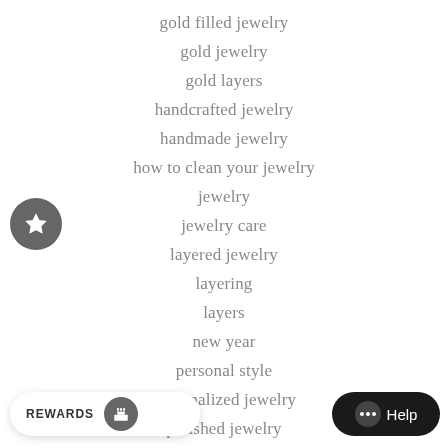gold filled jewelry
gold jewelry
gold layers
handcrafted jewelry
handmade jewelry
how to clean your jewelry
jewelry
jewelry care
layered jewelry
layering
layers
new year
personal style
personalized jewelry
polished jewelry
polishing cloth